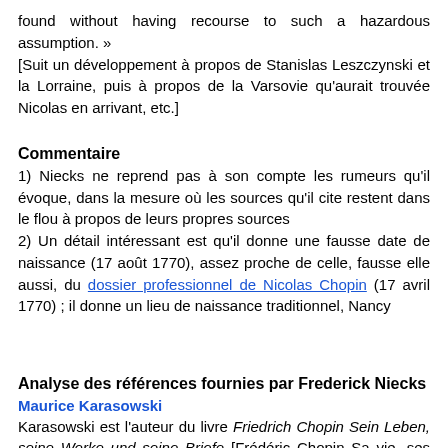found without having recourse to such a hazardous assumption. »
[Suit un développement à propos de Stanislas Leszczynski et la Lorraine, puis à propos de la Varsovie qu'aurait trouvée Nicolas en arrivant, etc.]
Commentaire
1) Niecks ne reprend pas à son compte les rumeurs qu'il évoque, dans la mesure où les sources qu'il cite restent dans le flou à propos de leurs propres sources
2) Un détail intéressant est qu'il donne une fausse date de naissance (17 août 1770), assez proche de celle, fausse elle aussi, du dossier professionnel de Nicolas Chopin (17 avril 1770) ; il donne un lieu de naissance traditionnel, Nancy
Analyse des références fournies par Frederick Niecks
Maurice Karasowski
Karasowski est l'auteur du livre Friedrich Chopin Sein Leben, seine Werke und seine Briefe [Frédéric Chopin Sa vie, ses œuvres et ses lettres], Dresde, F. Ries (traduit en anglais :